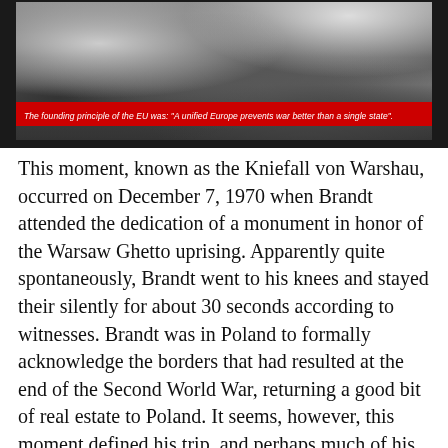[Figure (photo): Black and white photograph showing a figure kneeling at a monument, with flowers visible. A red caption bar overlays the bottom of the image reading: The founding principle of the EU was: "A unified Europe prevents war better than a single state".]
The founding principle of the EU was: "A unified Europe prevents war better than a single state".
This moment, known as the Kniefall von Warshau, occurred on December 7, 1970 when Brandt attended the dedication of a monument in honor of the Warsaw Ghetto uprising. Apparently quite spontaneously, Brandt went to his knees and stayed their silently for about 30 seconds according to witnesses. Brandt was in Poland to formally acknowledge the borders that had resulted at the end of the Second World War, returning a good bit of real estate to Poland. It seems, however, this moment defined his trip, and perhaps much of his political career.